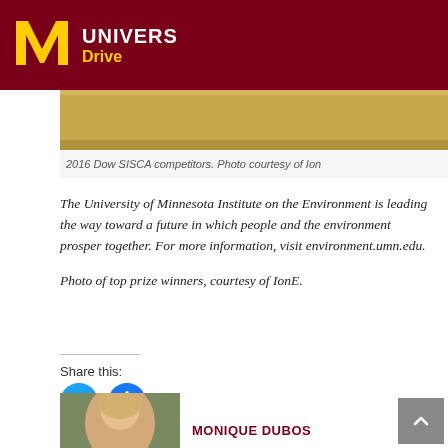UNIVERS Drive
[Figure (photo): 2016 Dow SISCA competitors photo strip]
2016 Dow SISCA competitors. Photo courtesy of IonE
The University of Minnesota Institute on the Environment is leading the way toward a future in which people and the environment prosper together. For more information, visit environment.umn.edu.
Photo of top prize winners, courtesy of IonE.
Share this:
[Figure (illustration): Twitter and Facebook share icon buttons]
[Figure (photo): Author photo of Monique Dubos]
MONIQUE DUBOS